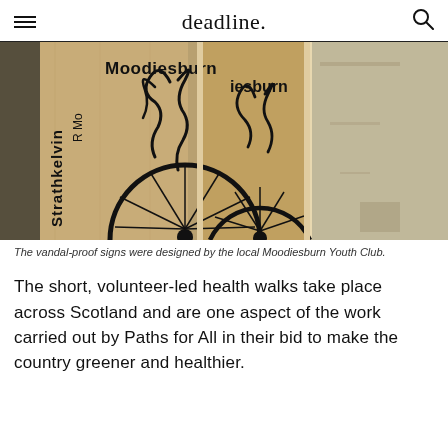deadline.
[Figure (photo): Wooden signboards with black cut-out bicycle wheel and plant/flame designs, with text reading 'Strathkelvin R... Moodiesburn' on multiple panels laid flat.]
The vandal-proof signs were designed by the local Moodiesburn Youth Club.
The short, volunteer-led health walks take place across Scotland and are one aspect of the work carried out by Paths for All in their bid to make the country greener and healthier.